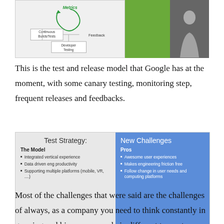[Figure (screenshot): A slide screenshot showing a test and release model diagram on the left (with Metrics circle, Continuous Builds/Tests, Feedback, Developer Testing labels), a green panel, and a dark panel with a person silhouette on the right.]
This is the test and release model that Google has at the moment, with some canary testing, monitoring step, frequent releases and feedbacks.
[Figure (screenshot): A slide titled 'Test Strategy: New Challenges' with two panels. Left (grey): 'The Model' with bullets: Integrated vertical experience, Data driven eng productivity, Supporting multiple platforms (mobile, VR, ....). Right (blue): 'Pros' with bullets: Awesome user experiences, Makes engineering friction free, Follow change in user needs and computing platforms.]
Most of the challenges that were said are the challenges of always, as a company you need to think constantly in growing and hire more people in different teams to